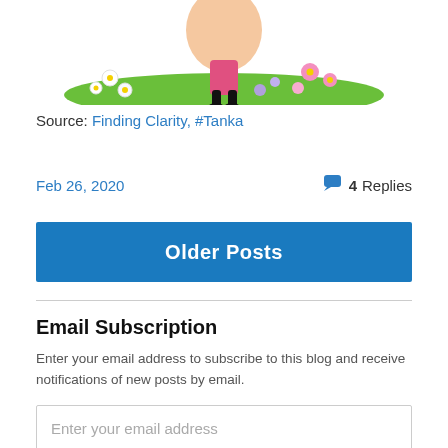[Figure (illustration): Colorful cartoon illustration of a character with flowers and greenery, partially visible at top of page]
Source: Finding Clarity, #Tanka
Feb 26, 2020   4 Replies
Older Posts
Email Subscription
Enter your email address to subscribe to this blog and receive notifications of new posts by email.
Enter your email address